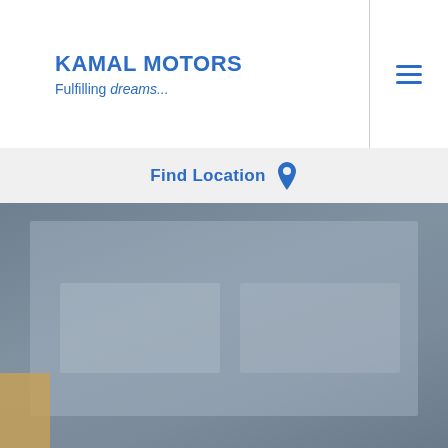KAMAL MOTORS
Fulfilling dreams...
Find Location
[Figure (photo): A blurred/muted photograph of a car showroom or automotive interior scene, shown with a blue-grey overlay. A golden/yellow element is visible in the bottom-left corner.]